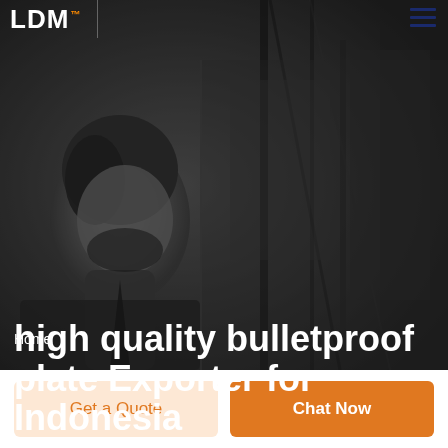LDM
Home
high quality bulletproof plate Exporter for Indonesia
[Figure (photo): Black and white background photo of a man in a suit, with urban/indoor blurred background]
Get a Quote
Chat Now